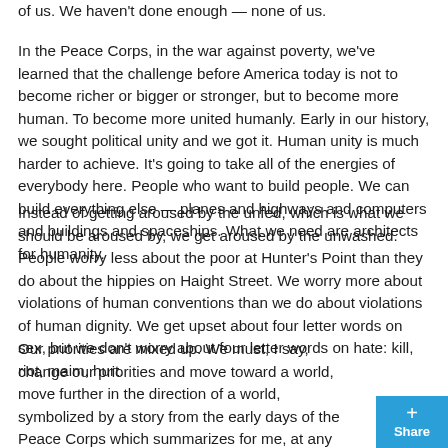of us. We haven't done enough — none of us.
In the Peace Corps, in the war against poverty, we've learned that the challenge before America today is not to become richer or bigger or stronger, but to become more human. To become more united humanly. Early in our history, we sought political unity and we got it. Human unity is much harder to achieve. It's going to take all of the energies of everybody here. People who want to build people. We can build everything else — planes and highways and computers and buildings and spaceships. What we need are architects for humanity.
Instead of getting aroused by the unfed, which is what we should be aroused by, we get aroused by the unwashed. People worry less about the poor at Hunter's Point than they do about the hippies on Haight Street. We worry more about violations of human conventions than we do about violations of human dignity. We get upset about four letter words on sex, but we don't worry about four letter words on hate: kill, riot, maim, hurt.
Our priorities are mixed up. We must, I say, change our priorities and move toward a world, move further in the direction of a world, symbolized by a story from the early days of the Peace Corps which summarizes for me, at any rate, everything we've been attempting to do in that program and in all these other programs. It's the story of the African mother and the child sitting on a rural road in up-country Ghana. And the child said to her mother as a figure strode down the road, the dusty road, "Look, mother, there's a white man." And the mother looked up and said, "No, darling, that's a Peac